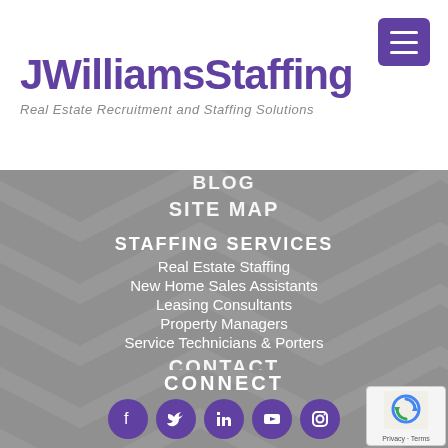[Figure (logo): JWilliamsStaffing logo with tagline Real Estate Recruitment and Staffing Solutions]
BLOG
SITE MAP
STAFFING SERVICES
Real Estate Staffing
New Home Sales Assistants
Leasing Consultants
Property Managers
Service Technicians & Porters
CONTACT
APPLY NOW
CONNECT
[Figure (infographic): Social media icons row: Facebook, Twitter, LinkedIn, YouTube, Instagram — all in purple circles]